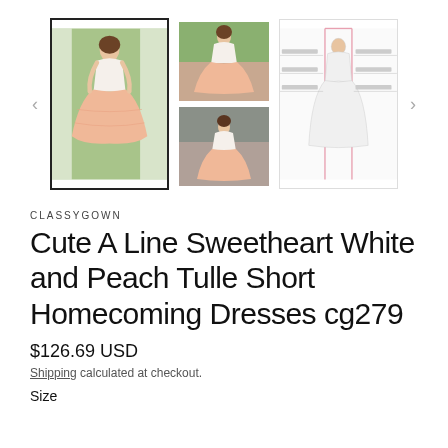[Figure (photo): Product image gallery showing a white and peach tulle homecoming dress worn by a model, with two smaller thumbnail images stacked and a size chart diagram]
CLASSYGOWN
Cute A Line Sweetheart White and Peach Tulle Short Homecoming Dresses cg279
$126.69 USD
Shipping calculated at checkout.
Size